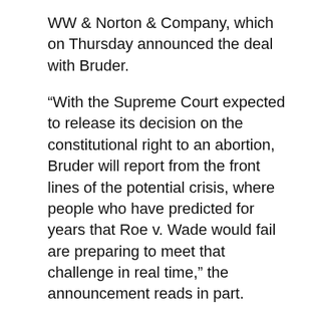WW & Norton & Company, which on Thursday announced the deal with Bruder.
“With the Supreme Court expected to release its decision on the constitutional right to an abortion, Bruder will report from the front lines of the potential crisis, where people who have predicted for years that Roe v. Wade would fail are preparing to meet that challenge in real time,” the announcement reads in part.
Bruder said in a statement that she planned to chronicle “human rights through the lens of abortion. Like ‘Nomadland,’ the focus won’t be politics. It will be all about immersing with people — otherwise ordinary humans slipping the bonds of state control